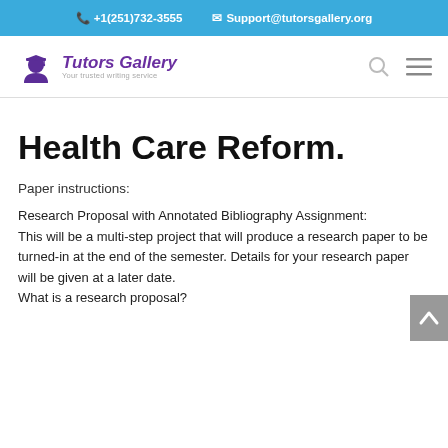+1(251)732-3555  Support@tutorsgallery.org
[Figure (logo): Tutors Gallery logo with graduation cap icon and tagline 'Your trusted writing service']
Health Care Reform.
Paper instructions:
Research Proposal with Annotated Bibliography Assignment:
This will be a multi-step project that will produce a research paper to be turned-in at the end of the semester. Details for your research paper will be given at a later date.
What is a research proposal?